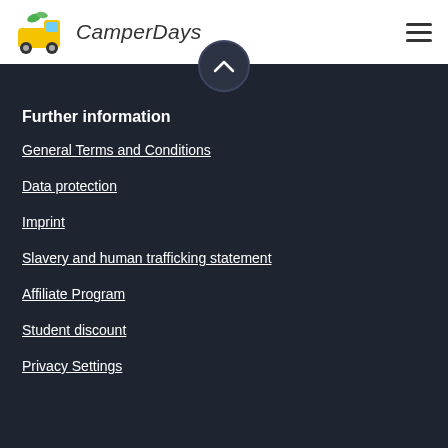CamperDays
Further information
General Terms and Conditions
Data protection
Imprint
Slavery and human trafficking statement
Affiliate Program
Student discount
Privacy Settings